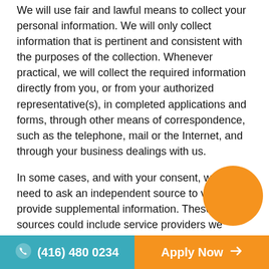We will use fair and lawful means to collect your personal information. We will only collect information that is pertinent and consistent with the purposes of the collection. Whenever practical, we will collect the required information directly from you, or from your authorized representative(s), in completed applications and forms, through other means of correspondence, such as the telephone, mail or the Internet, and through your business dealings with us.
In some cases, and with your consent, we may need to ask an independent source to verify or provide supplemental information. These sources could include service providers we retain, financial institutions, your employer or credit reporting agencies.
In the case of your medical or health-related
(416) 480 0234    Apply Now